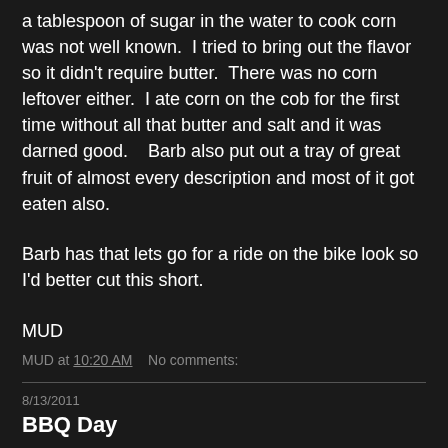a tablespoon of sugar in the water to cook corn was not well known.  I tried to bring out the flavor so it didn't require butter.  There was no corn leftover either.  I ate corn on the cob for the first time without all that butter and salt and it was darned good.   Barb also put out a tray of great fruit of almost every description and most of it got eaten also.
Barb has that lets go for a ride on the bike look so I'd better cut this short.
MUD
MUD at 10:20 AM    No comments:
8/13/2011
BBQ Day